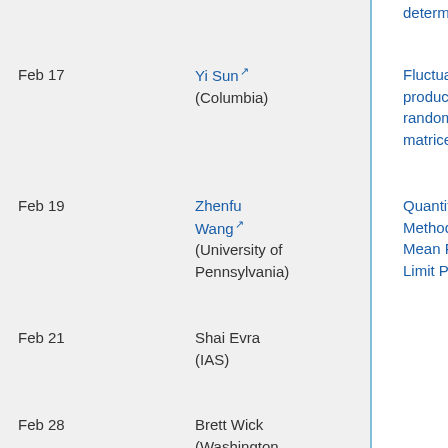| Date | Speaker | Title |
| --- | --- | --- |
| Feb 17 | Yi Sun (Columbia) | Fluctuations of products of random matrices |
| Feb 19 | Zhenfu Wang (University of Pennsylvania) | Quantitative Methods for Mean Field Limit Problems |
| Feb 21 | Shai Evra (IAS) |  |
| Feb 28 | Brett Wick (Washington University, St. Louis) |  |
| March ? | Jessica Fintzi... |  |